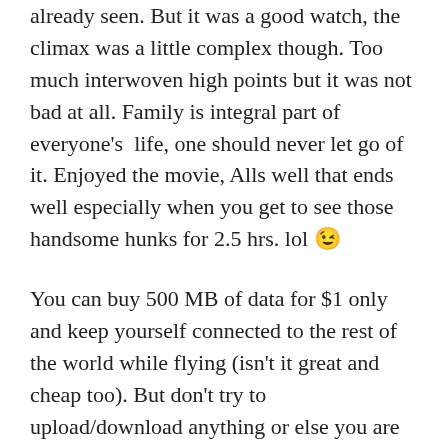already seen. But it was a good watch, the climax was a little complex though. Too much interwoven high points but it was not bad at all. Family is integral part of everyone's  life, one should never let go of it. Enjoyed the movie, Alls well that ends well especially when you get to see those handsome hunks for 2.5 hrs. lol 😉
You can buy 500 MB of data for $1 only and keep yourself connected to the rest of the world while flying (isn't it great and cheap too). But don't try to upload/download anything or else you are gonna wait forever... lol. That is why my this post has so less pictures 😐
Talking about food, that's one of my favourite parts